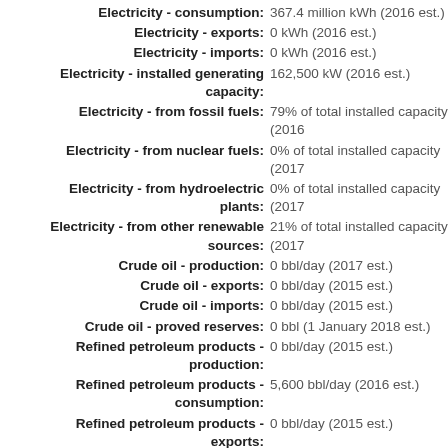Electricity - consumption: 367.4 million kWh (2016 est.)
Electricity - exports: 0 kWh (2016 est.)
Electricity - imports: 0 kWh (2016 est.)
Electricity - installed generating capacity: 162,500 kW (2016 est.)
Electricity - from fossil fuels: 79% of total installed capacity (2016
Electricity - from nuclear fuels: 0% of total installed capacity (2017
Electricity - from hydroelectric plants: 0% of total installed capacity (2017
Electricity - from other renewable sources: 21% of total installed capacity (2017
Crude oil - production: 0 bbl/day (2017 est.)
Crude oil - exports: 0 bbl/day (2015 est.)
Crude oil - imports: 0 bbl/day (2015 est.)
Crude oil - proved reserves: 0 bbl (1 January 2018 est.)
Refined petroleum products - production: 0 bbl/day (2015 est.)
Refined petroleum products - consumption: 5,600 bbl/day (2016 est.)
Refined petroleum products - exports: 0 bbl/day (2015 est.)
Refined petroleum products - imports: 5,607 bbl/day (2015 est.)
Natural gas - production: 0 cu m (2017 est.)
Natural gas - consumption: 0 cu m (2017 est.)